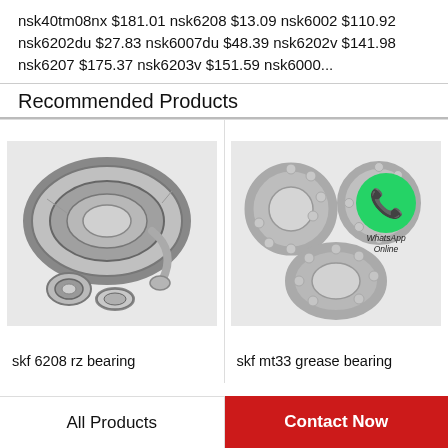nsk40tm08nx $181.01 nsk6208 $13.09 nsk6002 $110.92 nsk6202du $27.83 nsk6007du $48.39 nsk6202v $141.98 nsk6207 $175.37 nsk6203v $151.59 nsk6000...
Recommended Products
[Figure (photo): Tapered roller bearing components disassembled, showing inner and outer races with rollers.]
[Figure (photo): Ball bearings group with WhatsApp Online contact icon overlay.]
skf 6208 rz bearing
skf mt33 grease bearing
All Products
Contact Now